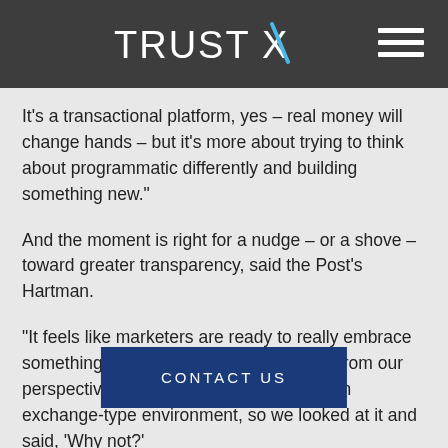TRUST X [logo]
try and figure out what the next generation of head to look at. The publisher's and agencies are talking that aren't thinking about this as just another demand source.
It's a transactional platform, yes – real money will change hands – but it's more about trying to think about programmatic differently and building something new."
And the moment is right for a nudge – or a shove – toward greater transparency, said the Post's Hartman.
“It feels like marketers are ready to really embrace something like this,” Hartman said. “And from our perspective, it’s 100% trusted brands in an exchange-type environment, so we looked at it and said, ‘Why not?’
CONTACT US